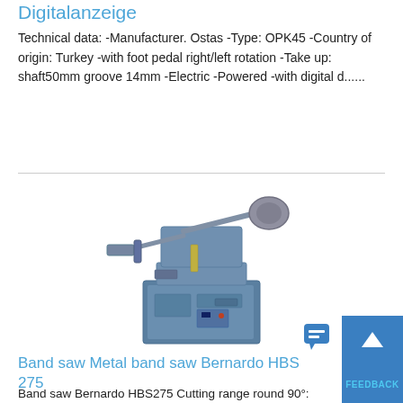Digitalanzeige
Technical data: -Manufacturer. Ostas -Type: OPK45 -Country of origin: Turkey -with foot pedal right/left rotation -Take up: shaft50mm groove 14mm -Electric -Powered -with digital d......
[Figure (photo): Photo of a metal band saw machine - Bernardo HBS 275, blue/grey colored industrial band saw with cutting arm and base cabinet]
Band saw Metal band saw Bernardo HBS 275
Band saw Bernardo HBS275 Cutting range round 90°: 225 mm Bcl3irir2c Cutting range